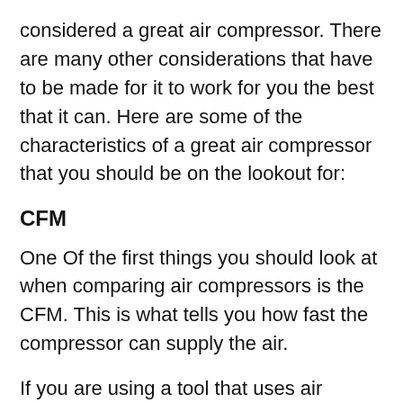considered a great air compressor. There are many other considerations that have to be made for it to work for you the best that it can. Here are some of the characteristics of a great air compressor that you should be on the lookout for:
CFM
One Of the first things you should look at when comparing air compressors is the CFM. This is what tells you how fast the compressor can supply the air.
If you are using a tool that uses air quicker than the compressor can give out, you will have to stop doing what you're doing and wait for the compressor to catch up. So with this said, you will want to make sure